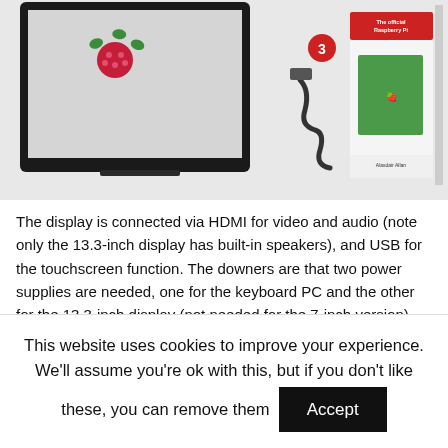[Figure (photo): Top portion showing a monitor/display with Raspberry Pi logo on screen (left), and accessories including a cable (labeled 3), power adapter (labeled 4), and a Raspberry Pi Beginner's Guide book (right)]
The display is connected via HDMI for video and audio (note only the 13.3-inch display has built-in speakers), and USB for the touchscreen function. The downers are that two power supplies are needed, one for the keyboard PC and the other for the 13.3-inch display (not needed for the 7-inch version), and that only the UK keyboard layout is offered.
The latter is not really a problem, since as we'll see below
This website uses cookies to improve your experience. We'll assume you're ok with this, but if you don't like these, you can remove them